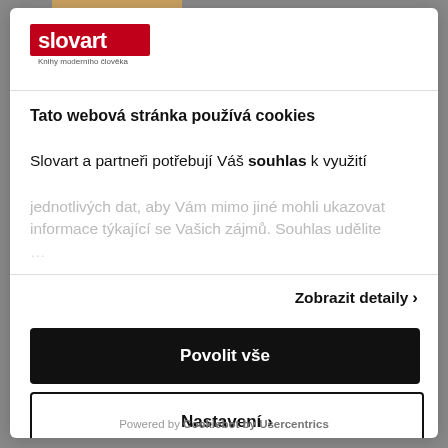[Figure (logo): Slovart logo - red text 'slovart' with tagline 'Knihy moderního člověka']
Tato webová stránka používá cookies
Slovart a partneři potřebují Váš souhlas k využití jednotlivých dat, aby Vám mimo jiné mohli ukazovat informace týkající se Vašich zájmů. Souhlas udělite...
Zobrazit detaily ›
Povolit vše
Nastavení ›
Powered by Cookiebot by Usercentrics